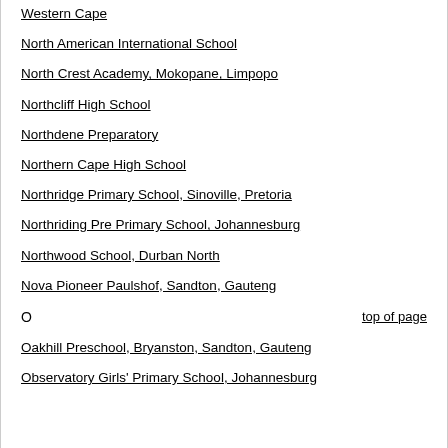Western Cape
North American International School
North Crest Academy, Mokopane, Limpopo
Northcliff High School
Northdene Preparatory
Northern Cape High School
Northridge Primary School, Sinoville, Pretoria
Northriding Pre Primary School, Johannesburg
Northwood School, Durban North
Nova Pioneer Paulshof, Sandton, Gauteng
O
Oakhill Preschool, Bryanston, Sandton, Gauteng
Observatory Girls' Primary School, Johannesburg